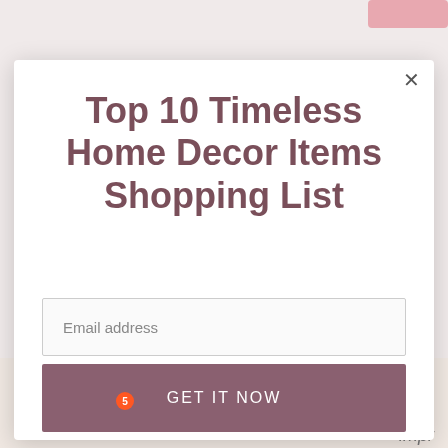Top 10 Timeless Home Decor Items Shopping List
Email address
GET IT NOW
Thank the creator
impr